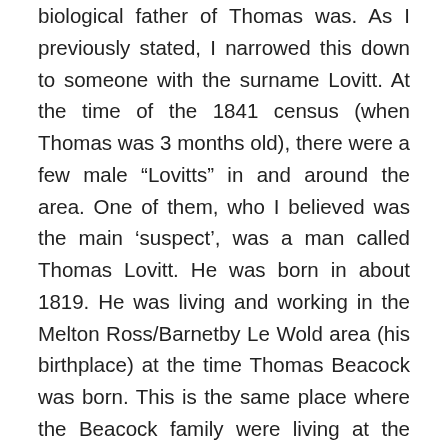biological father of Thomas was. As I previously stated, I narrowed this down to someone with the surname Lovitt. At the time of the 1841 census (when Thomas was 3 months old), there were a few male “Lovitts” in and around the area. One of them, who I believed was the main ‘suspect’, was a man called Thomas Lovitt. He was born in about 1819. He was living and working in the Melton Ross/Barnetby Le Wold area (his birthplace) at the time Thomas Beacock was born. This is the same place where the Beacock family were living at the time. In 1841, this Thomas Lovitt was 20 years old and was living with his parents William (a farmer) and Sarah. In 1851, Thomas Lovitt was a farmer and his mother, Sarah, was the Inn Keeper of the Stag Inn in Melton Ross. Unfortunately, I could not find a photograph or find much information about the Stag